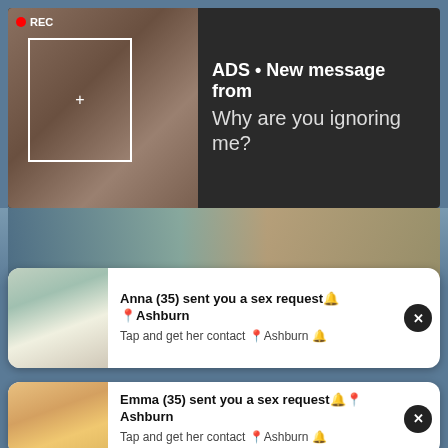[Figure (screenshot): Adult advertisement banner with recording indicator, focus box overlay, and text message prompt saying ADS • New message from / Why are you ignoring me?]
[Figure (screenshot): Notification card 1: Anna (35) sent you a sex request from Ashburn. Tap and get her contact Ashburn.]
[Figure (screenshot): Notification card 2: Emma (35) sent you a sex request from Ashburn. Tap and get her contact Ashburn.]